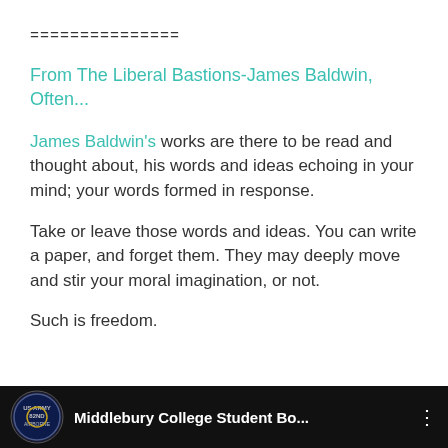===============
From The Liberal Bastions-James Baldwin, Often...
James Baldwin's works are there to be read and thought about, his words and ideas echoing in your mind; your words formed in response.
Take or leave those words and ideas. You can write a paper, and forget them. They may deeply move and stir your moral imagination, or not.
Such is freedom.
[Figure (screenshot): Video thumbnail bar with military insignia logo and text 'Middlebury College Student Bo...' with three-dot menu icon on dark background]